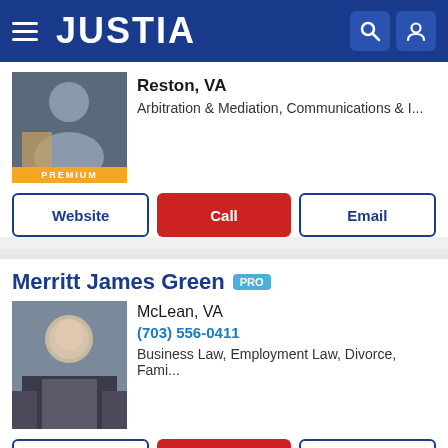JUSTIA
Reston, VA
Arbitration & Mediation, Communications & I...
Website | Call | Email
Merritt James Green PRO
McLean, VA
(703) 556-0411
Business Law, Employment Law, Divorce, Fami...
Website | Call | Email
Subscribe to Justia's Free Newsletters